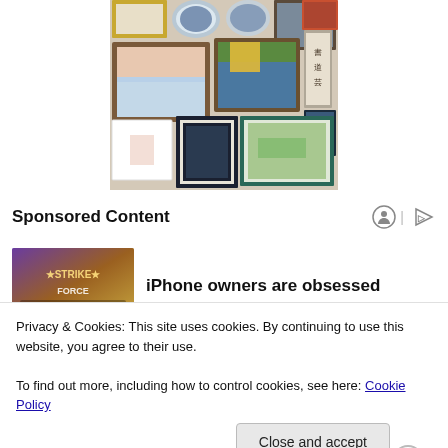[Figure (photo): Gallery wall with multiple framed artworks and photographs arranged on a beige wall]
Sponsored Content
[Figure (photo): Mobile game advertisement thumbnail with colorful fantasy/action theme (Strike Force style branding)]
iPhone owners are obsessed
Privacy & Cookies: This site uses cookies. By continuing to use this website, you agree to their use.
To find out more, including how to control cookies, see here: Cookie Policy
Close and accept